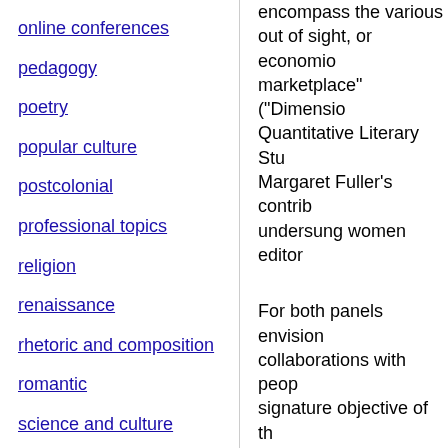online conferences
pedagogy
poetry
popular culture
postcolonial
professional topics
religion
renaissance
rhetoric and composition
romantic
science and culture
theatre
theory
translation studies
encompass the various … out of sight, or economio… marketplace" (“Dimensio… Quantitative Literary Stu… Margaret Fuller’s contrib… undersung women editor…
For both panels envision … collaborations with peop… signature objective of th… to center the work of Bla… in ways that challenge o…
We welcome abstracts o… Jane Johnson Schoolcraft…